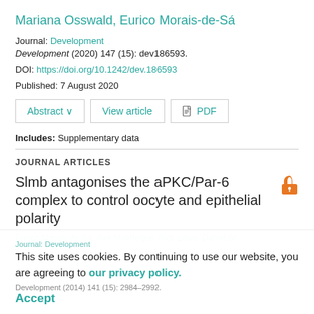Mariana Osswald, Eurico Morais-de-Sá
Journal: Development
Development (2020) 147 (15): dev186593.
DOI: https://doi.org/10.1242/dev.186593
Published: 7 August 2020
Abstract ∨   View article   PDF
Includes: Supplementary data
JOURNAL ARTICLES
Slmb antagonises the aPKC/Par-6 complex to control oocyte and epithelial polarity
Eurico Morais-de-Sá, Avik Mukherjee, Nick Lowe, Daniel St
This site uses cookies. By continuing to use our website, you are agreeing to our privacy policy. Accept
Journal: Development
Development (2014) 141 (15): 2984–2992.